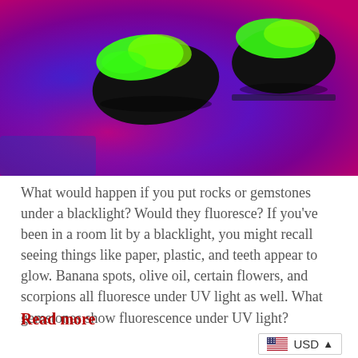[Figure (photo): Two rocks or gemstones glowing bright green under UV/blacklight, set against a vivid purple and pink/magenta background.]
What would happen if you put rocks or gemstones under a blacklight? Would they fluoresce? If you've been in a room lit by a blacklight, you might recall seeing things like paper, plastic, and teeth appear to glow. Banana spots, olive oil, certain flowers, and scorpions all fluoresce under UV light as well. What gemstones show fluorescence under UV light?
Read more
USD